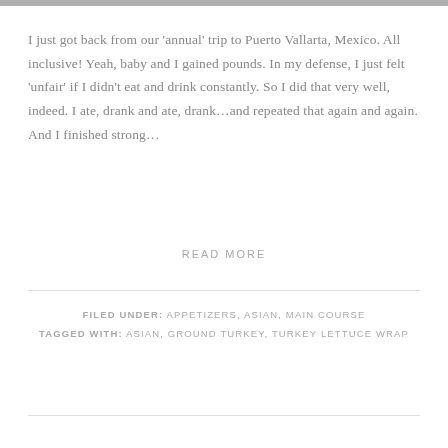I just got back from our 'annual' trip to Puerto Vallarta, Mexico. All inclusive! Yeah, baby and I gained pounds. In my defense, I just felt 'unfair' if I didn't eat and drink constantly. So I did that very well, indeed. I ate, drank and ate, drank…and repeated that again and again. And I finished strong…
READ MORE
FILED UNDER: APPETIZERS, ASIAN, MAIN COURSE TAGGED WITH: ASIAN, GROUND TURKEY, TURKEY LETTUCE WRAP